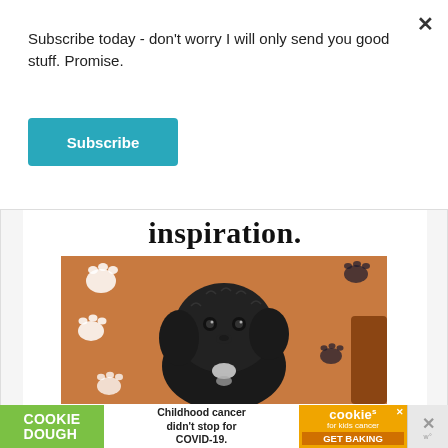Subscribe today - don't worry I will only send you good stuff. Promise.
Subscribe
inspiration.
[Figure (photo): A black curly-haired puppy (likely a Labradoodle or similar breed) sitting on a brown background with white and dark paw print pattern. The puppy has a small white patch on its chest.]
[Figure (infographic): Cookie Dough advertisement banner: green left section with 'COOKIE DOUGH' text, white middle section with 'Childhood cancer didn't stop for COVID-19.' text, orange right section with 'cookies for kids cancer GET BAKING' text and close buttons.]